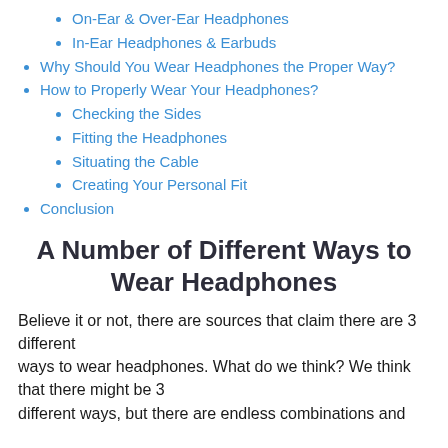On-Ear & Over-Ear Headphones
In-Ear Headphones & Earbuds
Why Should You Wear Headphones the Proper Way?
How to Properly Wear Your Headphones?
Checking the Sides
Fitting the Headphones
Situating the Cable
Creating Your Personal Fit
Conclusion
A Number of Different Ways to Wear Headphones
Believe it or not, there are sources that claim there are 3 different ways to wear headphones. What do we think? We think that there might be 3 different ways, but there are endless combinations and